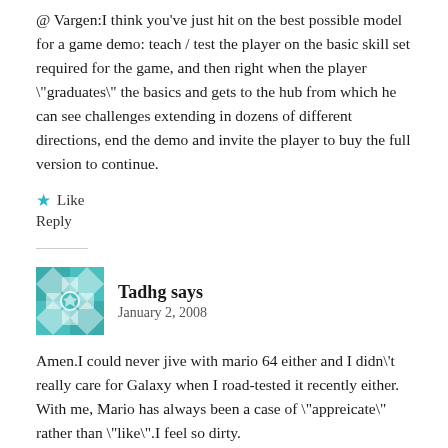@ Vargen:I think you've just hit on the best possible model for a game demo: teach / test the player on the basic skill set required for the game, and then right when the player "graduates" the basics and gets to the hub from which he can see challenges extending in dozens of different directions, end the demo and invite the player to buy the full version to continue.
★ Like
Reply
Tadhg says
January 2, 2008
Amen.I could never jive with mario 64 either and I didn't really care for Galaxy when I road-tested it recently either. With me, Mario has always been a case of "appreicate" rather than "like".I feel so dirty.